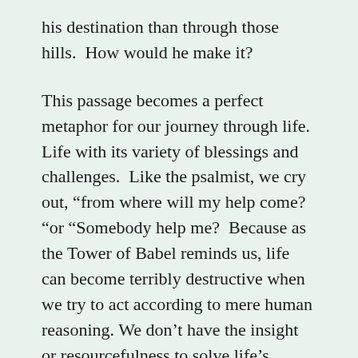his destination than through those hills.  How would he make it?
This passage becomes a perfect metaphor for our journey through life.  Life with its variety of blessings and challenges.  Like the psalmist, we cry out, “from where will my help come? “or “Somebody help me?  Because as the Tower of Babel reminds us, life can become terribly destructive when we try to act according to mere human reasoning. We don’t have the insight or resourcefulness to solve life’s problems: getting along with difficult co-workers, managing personal finances, raising a family, and in our world with so many competing and often deceptive voices